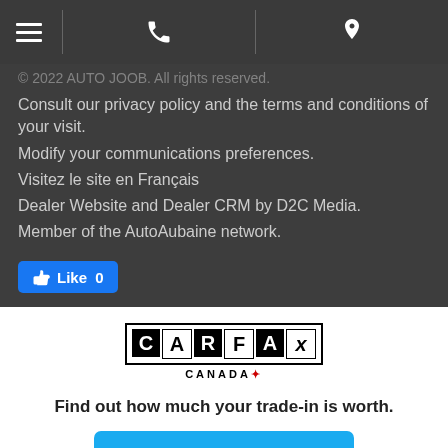Navigation bar with hamburger menu, phone icon, and location pin
© 2022 AUTO JOOB. All rights reserved.
Consult our privacy policy and the terms and conditions of your visit.
Modify your communications preferences.
Visitez le site en Français
Dealer Website and Dealer CRM by D2C Media.
Member of the AutoAubaine network.
[Figure (other): Facebook Like button showing thumbs up icon and Like 0]
[Figure (logo): CARFAX Canada logo with black boxes around letters and red maple leaf]
Find out how much your trade-in is worth.
GET STARTED